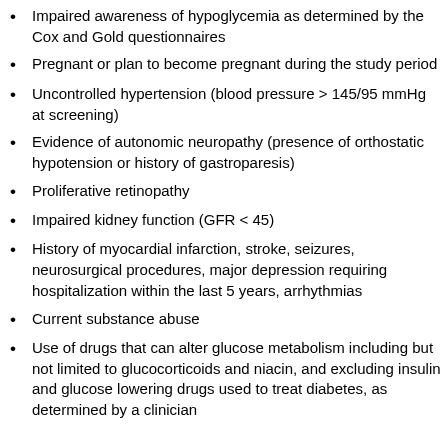Impaired awareness of hypoglycemia as determined by the Cox and Gold questionnaires
Pregnant or plan to become pregnant during the study period
Uncontrolled hypertension (blood pressure > 145/95 mmHg at screening)
Evidence of autonomic neuropathy (presence of orthostatic hypotension or history of gastroparesis)
Proliferative retinopathy
Impaired kidney function (GFR < 45)
History of myocardial infarction, stroke, seizures, neurosurgical procedures, major depression requiring hospitalization within the last 5 years, arrhythmias
Current substance abuse
Use of drugs that can alter glucose metabolism including but not limited to glucocorticoids and niacin, and excluding insulin and glucose lowering drugs used to treat diabetes, as determined by a clinician